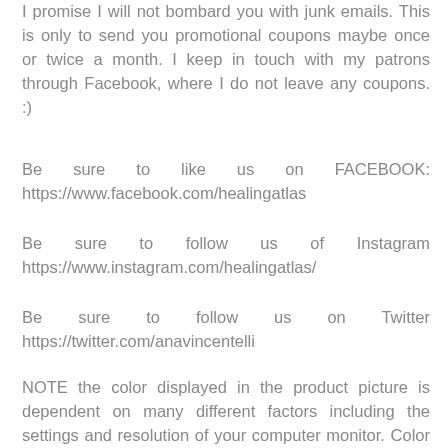I promise I will not bombard you with junk emails. This is only to send you promotional coupons maybe once or twice a month. I keep in touch with my patrons through Facebook, where I do not leave any coupons. :)
Be sure to like us on FACEBOOK: https://www.facebook.com/healingatlas
Be sure to follow us of Instagram https://www.instagram.com/healingatlas/
Be sure to follow us on Twitter https://twitter.com/anavincentelli
NOTE the color displayed in the product picture is dependent on many different factors including the settings and resolution of your computer monitor. Color of the actual product may be slightly